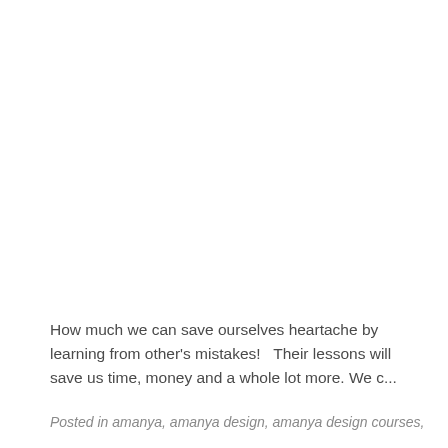How much we can save ourselves heartache by learning from other's mistakes!   Their lessons will save us time, money and a whole lot more. We c...
Posted in amanya, amanya design, amanya design courses,